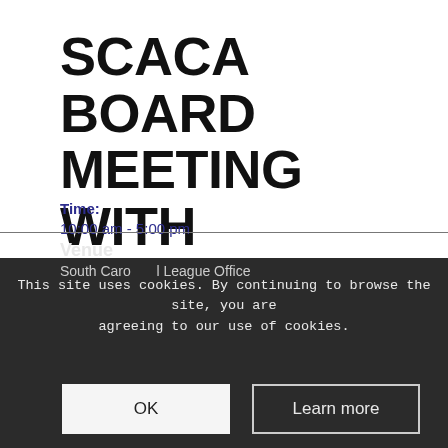SCACA BOARD MEETING WITH AUXILIARY CHAIRPERSONS
March 5, 2020 @ 10:00 am - 5:00 pm
Details
Date:
March 5, 2020
Time:
10:00 am - 5:00 pm
Venue
South Caro... League Office
This site uses cookies. By continuing to browse the site, you are agreeing to our use of cookies.